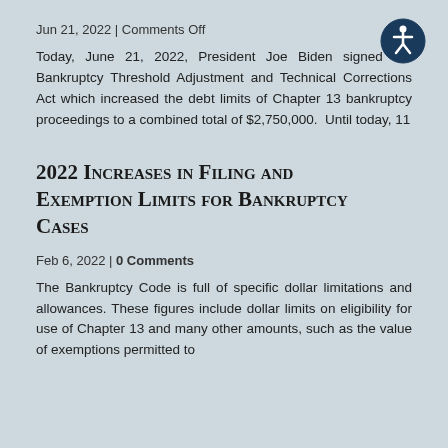Jun 21, 2022 | Comments Off
Today, June 21, 2022, President Joe Biden signed the Bankruptcy Threshold Adjustment and Technical Corrections Act which increased the debt limits of Chapter 13 bankruptcy proceedings to a combined total of $2,750,000.  Until today, 11
[Figure (illustration): Accessibility icon: dark blue circle with white wheelchair accessible person symbol]
2022 Increases in Filing and Exemption Limits for Bankruptcy Cases
Feb 6, 2022 | 0 Comments
The Bankruptcy Code is full of specific dollar limitations and allowances. These figures include dollar limits on eligibility for use of Chapter 13 and many other amounts, such as the value of exemptions permitted to